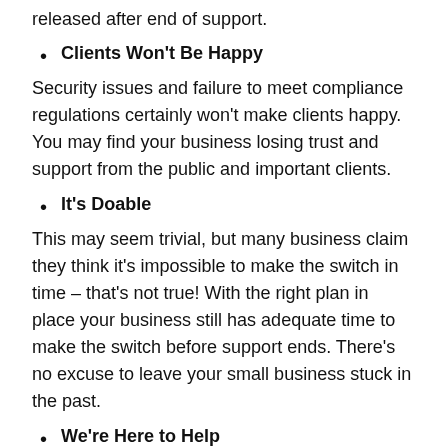released after end of support.
Clients Won't Be Happy
Security issues and failure to meet compliance regulations certainly won't make clients happy. You may find your business losing trust and support from the public and important clients.
It's Doable
This may seem trivial, but many business claim they think it's impossible to make the switch in time – that's not true! With the right plan in place your business still has adequate time to make the switch before support ends. There's no excuse to leave your small business stuck in the past.
We're Here to Help